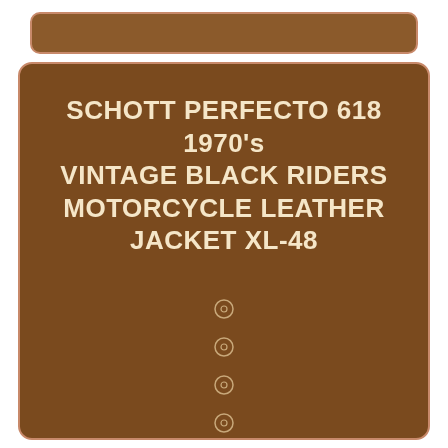SCHOTT PERFECTO 618 1970's VINTAGE BLACK RIDERS MOTORCYCLE LEATHER JACKET XL-48
⊙
⊙
⊙
⊙
⊙
⊙
⊙
⊙
⊙
⊙